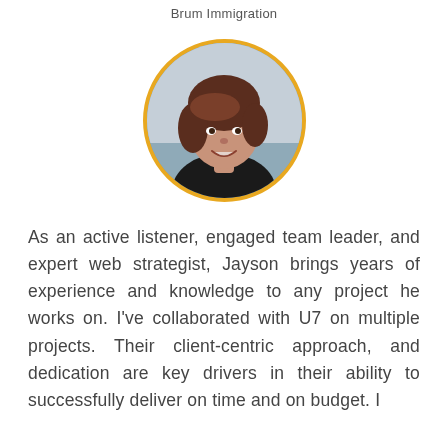Brum Immigration
[Figure (photo): Circular portrait photo of a woman with short dark reddish-brown hair, smiling, wearing a black top, with a gold/yellow circular border]
As an active listener, engaged team leader, and expert web strategist, Jayson brings years of experience and knowledge to any project he works on. I've collaborated with U7 on multiple projects. Their client-centric approach, and dedication are key drivers in their ability to successfully deliver on time and on budget. I